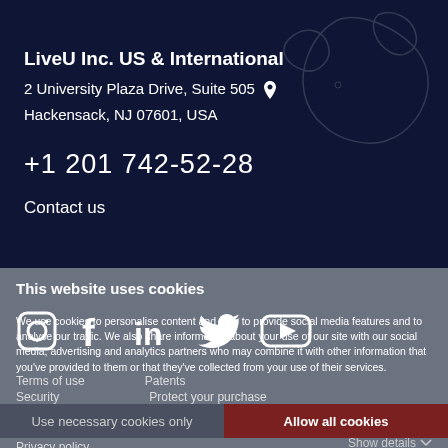LiveU Inc. US & International
2 University Plaza Drive, Suite 505 📍
Hackensack, NJ 07601, USA
+1 201 742-52-28
Contact us
[Figure (logo): Social media icons: Instagram, Facebook, LinkedIn, Twitter, YouTube]
This website uses cookies
We use cookies to personalise content and ads, to provide social media features and to analyse our traffic. We also share information about your use of our site with our social media, advertising and analytics partners who may combine it with other information that you've provided to them or that they've collected from your use of their services.
Terms of use
Patents
Security
Protect your purchase
Use necessary cookies only
Allow all cookies
Privacy policy
Code of conduct
Show details ▾